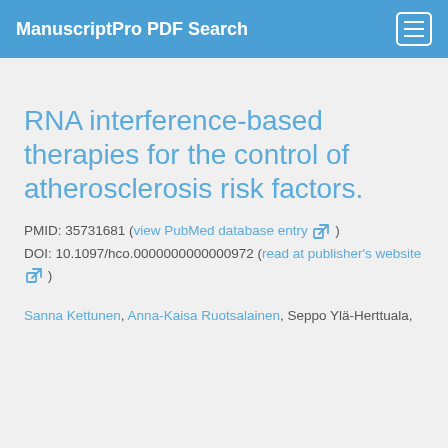ManuscriptPro PDF Search
RNA interference-based therapies for the control of atherosclerosis risk factors.
PMID: 35731681 (view PubMed database entry ) DOI: 10.1097/hco.0000000000000972 (read at publisher's website )
Sanna Kettunen, Anna-Kaisa Ruotsalainen, Seppo Ylä-Herttuala,